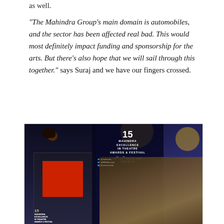as well.

“The Mahindra Group’s main domain is automobiles, and the sector has been affected real bad. This would most definitely impact funding and sponsorship for the arts. But there’s also hope that we will sail through this together.” says Suraj and we have our fingers crossed.
[Figure (photo): A man speaking at a podium at the 15th Mahindra Excellence in Theatre Awards & Festival (META 2020) event in New Delhi, with empty chairs arranged on a stage in the background and festival branding visible.]
Suraj Dhingra announced META 2020 and few weeks later lockdown came into being